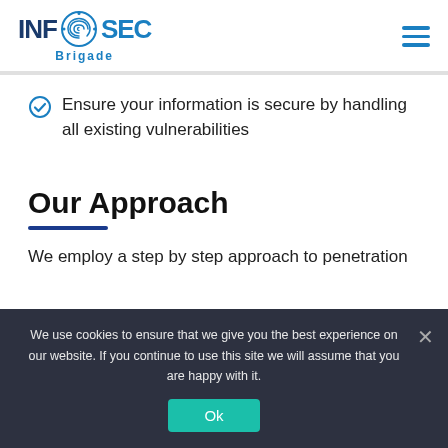[Figure (logo): INF@SEC Brigade logo with fingerprint icon in circle between INF and SEC text]
Ensure your information is secure by handling all existing vulnerabilities
Our Approach
We employ a step by step approach to penetration
We use cookies to ensure that we give you the best experience on our website. If you continue to use this site we will assume that you are happy with it.